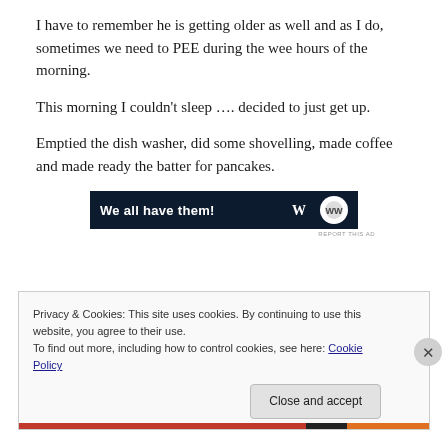I have to remember he is getting older as well and as I do, sometimes we need to PEE during the wee hours of the morning.
This morning I couldn't sleep …. decided to just get up.
Emptied the dish washer, did some shovelling, made coffee and made ready the batter for pancakes.
[Figure (other): Dark navy advertisement banner reading 'We all have them!' with a circular logo on the right side]
Privacy & Cookies: This site uses cookies. By continuing to use this website, you agree to their use.
To find out more, including how to control cookies, see here: Cookie Policy
Close and accept